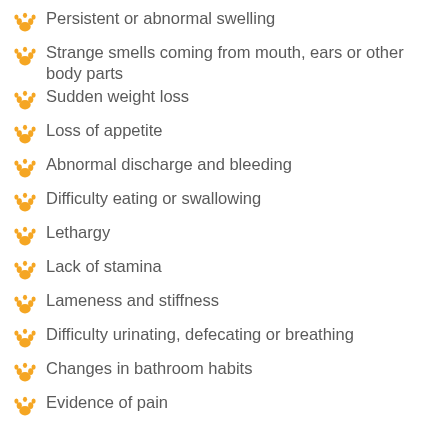Persistent or abnormal swelling
Strange smells coming from mouth, ears or other body parts
Sudden weight loss
Loss of appetite
Abnormal discharge and bleeding
Difficulty eating or swallowing
Lethargy
Lack of stamina
Lameness and stiffness
Difficulty urinating, defecating or breathing
Changes in bathroom habits
Evidence of pain